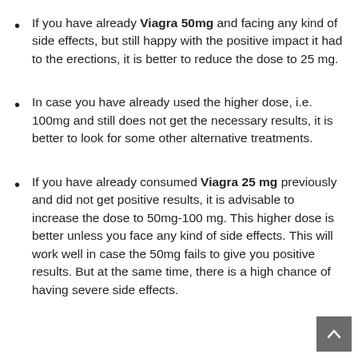If you have already Viagra 50mg and facing any kind of side effects, but still happy with the positive impact it had to the erections, it is better to reduce the dose to 25 mg.
In case you have already used the higher dose, i.e. 100mg and still does not get the necessary results, it is better to look for some other alternative treatments.
If you have already consumed Viagra 25 mg previously and did not get positive results, it is advisable to increase the dose to 50mg-100 mg. This higher dose is better unless you face any kind of side effects. This will work well in case the 50mg fails to give you positive results. But at the same time, there is a high chance of having severe side effects.